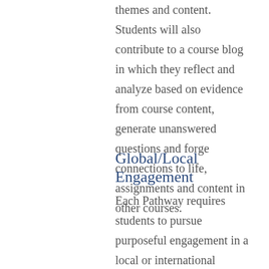themes and content. Students will also contribute to a course blog in which they reflect and analyze based on evidence from course content, generate unanswered questions and forge connections to life, assignments and content in other courses.
Global/Local Engagement
Each Pathway requires students to pursue purposeful engagement in a local or international context, such as study away, an internship or community-based learning.